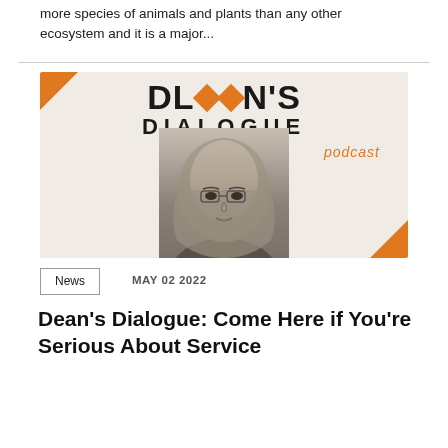more species of animals and plants than any other ecosystem and it is a major...
[Figure (photo): Dean's Dialogue podcast cover image featuring a woman wearing a headscarf with glasses, black and white photo, orange corner accents, with the text 'DEAN'S DIALOGUE podcast']
News
MAY 02 2022
Dean's Dialogue: Come Here if You're Serious About Service